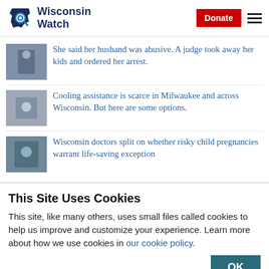Wisconsin Watch | Donate | Menu
She said her husband was abusive. A judge took away her kids and ordered her arrest.
Cooling assistance is scarce in Milwaukee and across Wisconsin. But here are some options.
Wisconsin doctors split on whether risky child pregnancies warrant life-saving exception
This Site Uses Cookies
This site, like many others, uses small files called cookies to help us improve and customize your experience. Learn more about how we use cookies in our cookie policy.